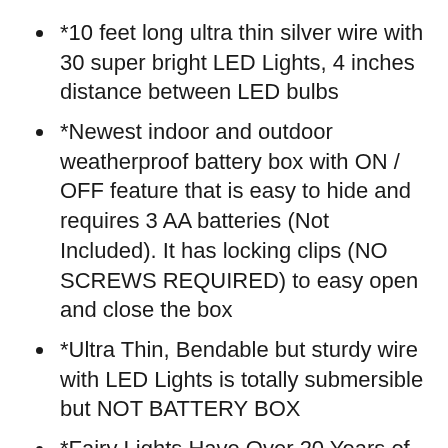*10 feet long ultra thin silver wire with 30 super bright LED Lights, 4 inches distance between LED bulbs
*Newest indoor and outdoor weatherproof battery box with ON / OFF feature that is easy to hide and requires 3 AA batteries (Not Included). It has locking clips (NO SCREWS REQUIRED) to easy open and close the box
*Ultra Thin, Bendable but sturdy wire with LED Lights is totally submersible but NOT BATTERY BOX
*Fairy Lights Have Over 20 Years of Life Span and Use Fraction of Energy Needed by Regular Light Strings.
*Our products are exclusive designer, have the highest quality products and